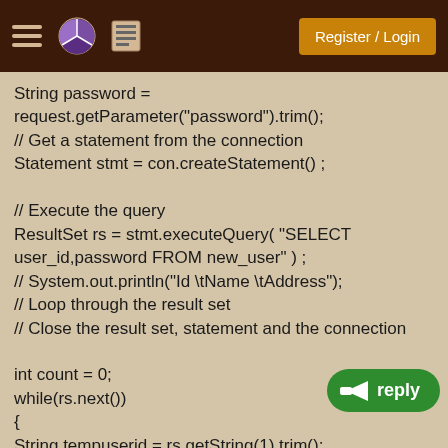Register / Login
String password =
request.getParameter("password").trim();
// Get a statement from the connection
Statement stmt = con.createStatement() ;

// Execute the query
ResultSet rs = stmt.executeQuery( "SELECT user_id,password FROM new_user" ) ;
// System.out.println("Id \tName \tAddress");
// Loop through the result set
// Close the result set, statement and the connection

int count = 0;
while(rs.next())
{
String tempuserid = rs.getString(1).trim();
String temppassword = rs.getString(2).trim();
if ((userid.equalsIgnoreCase(tempuserid) &&
(password.equalsIgnoreCase(temppassword)));
{